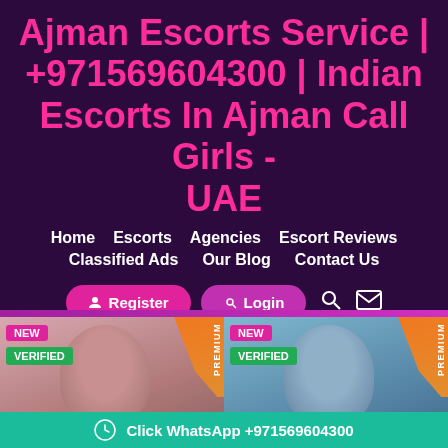Ajman Escorts Service | +971569604300 | Indian Escorts In Ajman Call Girls - UAE
Home
Escorts
Agencies
Escort Reviews
Classified Ads
Our Blog
Contact Us
Register
Login
[Figure (screenshot): Two escort profile cards with NEW and VERIFIED badges in pink/green and PREMIUM orange ribbon banners, showing partial photos of persons]
Click WhatsApp +971569604300